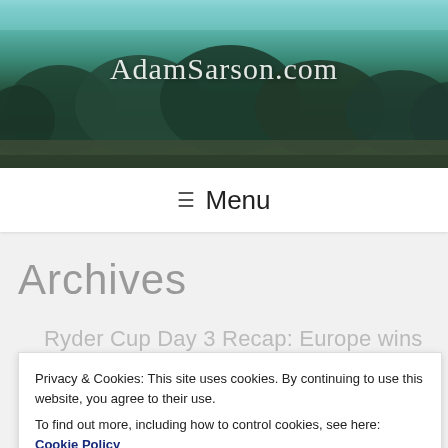[Figure (photo): Scenic landscape photo of forested hillside with ocean/bay visible in background, used as website header background]
AdamSarson.com
≡ Menu
Archives
Ryder Cup Day 3 Recap: Europe wins
Privacy & Cookies: This site uses cookies. By continuing to use this website, you agree to their use.
To find out more, including how to control cookies, see here: Cookie Policy
Cup at Gleneagles. Read all about the action of the